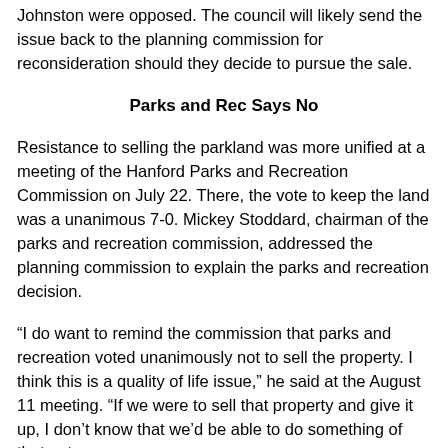Johnston were opposed. The council will likely send the issue back to the planning commission for reconsideration should they decide to pursue the sale.
Parks and Rec Says No
Resistance to selling the parkland was more unified at a meeting of the Hanford Parks and Recreation Commission on July 22. There, the vote to keep the land was a unanimous 7-0. Mickey Stoddard, chairman of the parks and recreation commission, addressed the planning commission to explain the parks and recreation decision.
“I do want to remind the commission that parks and recreation voted unanimously not to sell the property. I think this is a quality of life issue,” he said at the August 11 meeting. “If we were to sell that property and give it up, I don’t know that we’d be able to do something of that nature